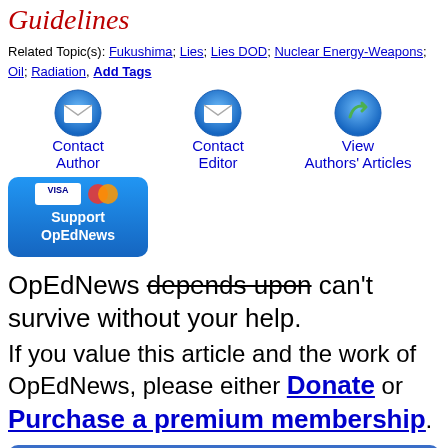Guidelines
Related Topic(s): Fukushima; Lies; Lies DOD; Nuclear Energy-Weapons; Oil; Radiation, Add Tags
[Figure (other): Contact Author icon (envelope), Contact Editor icon (envelope), View Authors' Articles icon (refresh/view arrow)]
[Figure (other): Support OpEdNews button with Visa and Mastercard logos]
OpEdNews depends upon can't survive without your help.
If you value this article and the work of OpEdNews, please either Donate or Purchase a premium membership.
STAY IN THE KNOW
If you've enjoyed this, sign up for our daily or weekly newsletter to get lots of great progressive content.
Daily  Weekly  OpEd News Newsletter  Enter Your Name